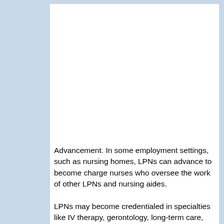Advancement. In some employment settings, such as nursing homes, LPNs can advance to become charge nurses who oversee the work of other LPNs and nursing aides.
LPNs may become credentialed in specialties like IV therapy, gerontology, long-term care, and